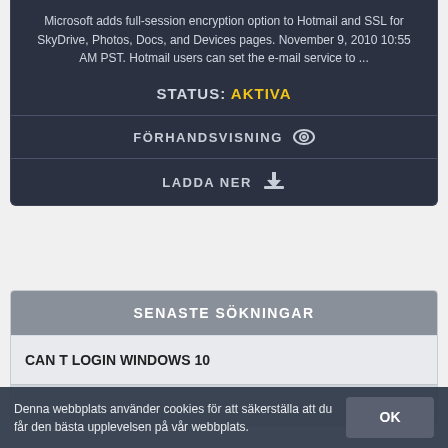Microsoft adds full-session encryption option to Hotmail and SSL for SkyDrive, Photos, Docs, and Devices pages. November 9, 2010 10:55 AM PST. Hotmail users can set the e-mail service to ...
STATUS: AKTIVA
FÖRHANDSVISNING
LADDA NER
SENASTE SÖKNINGAR
CAN T LOGIN WINDOWS 10
Denna webbplats använder cookies för att säkerställa att du får den bästa upplevelsen på vår webbplats.
OK